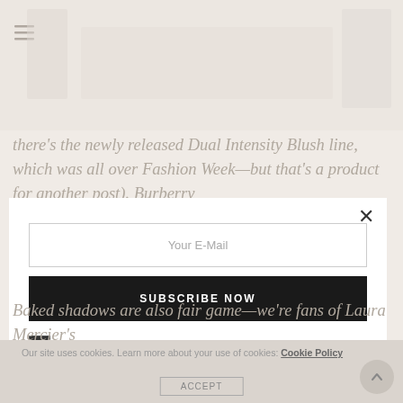[Figure (screenshot): Blurred background image of a fashion/beauty website with faded text and a navigation icon visible at the top left]
there's the newly released Dual Intensity Blush line, which was all over Fashion Week—but that's a product for another post). Burberry
[Figure (screenshot): Email subscription modal popup with close button (X), email input field with placeholder 'Your E-Mail', a black 'SUBSCRIBE NOW' button, and a checked checkbox with label 'I would like to receive news and special offers.']
Baked shadows are also fair game—we're fans of Laura Mercier's
Our site uses cookies. Learn more about your use of cookies: Cookie Policy
ACCEPT